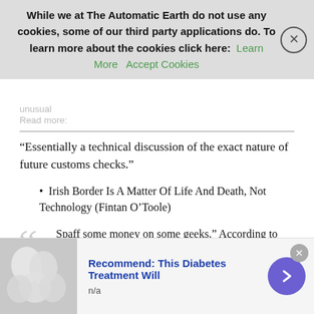While we at The Automatic Earth do not use any cookies, some of our third party applications do. To learn more about the cookies click here: Learn More  Accept Cookies
unusual
Read more:
“Essentially a technical discussion of the exact nature of future customs checks.”
Irish Border Is A Matter Of Life And Death, Not Technology (Fintan O’Toole)
“Spaff some money on some geeks.” According to Chris Cook’s excellent account of Theresa May’s Brexit negotiations with Brussels, that was the instruction issued to the civil service by May’s enforcer Fiona Hill in late 2016. It had finally dawned on the British government that it had committed itself to two incompatible things. One was that under no circumstances would there be a return to a hard border between the UK and the Republic of Ireland. The other was that all of
Recommend: This Diabetes Treatment Will
n/a